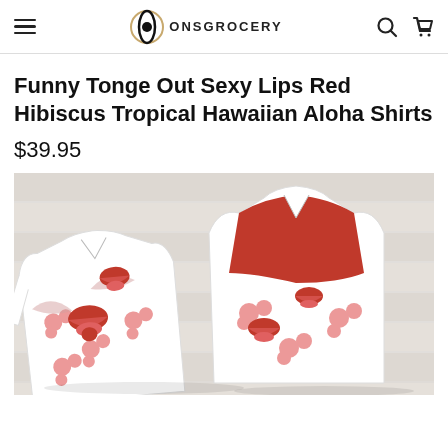ONSGROCERY
Funny Tonge Out Sexy Lips Red Hibiscus Tropical Hawaiian Aloha Shirts
$39.95
[Figure (photo): Product photo of Hawaiian Aloha shirts featuring red hibiscus flowers and Rolling Stones-style lips/tongue graphics on a white background, showing front and back views of the shirt.]